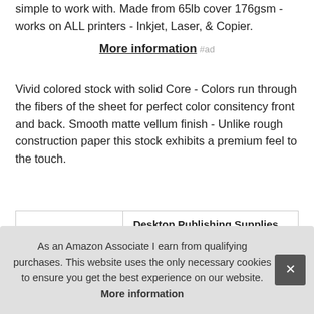simple to work with. Made from 65lb cover 176gsm - works on ALL printers - Inkjet, Laser, & Copier.
More information #ad
Vivid colored stock with solid Core - Colors run through the fibers of the sheet for perfect color consitency front and back. Smooth matte vellum finish - Unlike rough construction paper this stock exhibits a premium feel to the touch.
|  |  |
| --- | --- |
| Brand | Desktop Publishing Supplies #ad |
| Manufacturer | Desktop Publishing Supplies, Inc. #ad |
| P |  |
As an Amazon Associate I earn from qualifying purchases. This website uses the only necessary cookies to ensure you get the best experience on our website. More information